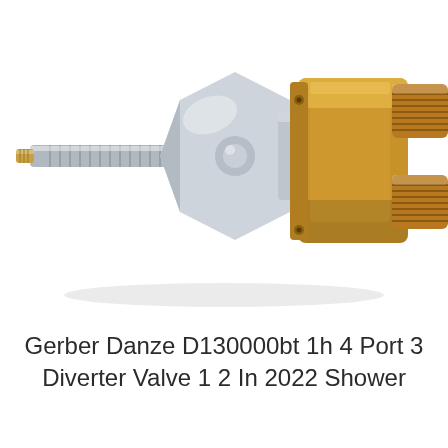[Figure (photo): A brass and chrome diverter valve component — the Gerber Danze D130000bt — shown in a diagonal orientation. The left side has a chrome-finished threaded spindle with a small brass tip. The center features a large chrome hexagonal body. The right side is a gold/brass section with threaded male pipe fittings protruding from the top-right and bottom-right, and small screw holes on a flat mounting flange.]
Gerber Danze D130000bt 1h 4 Port 3 Diverter Valve 1 2 In 2022 Shower